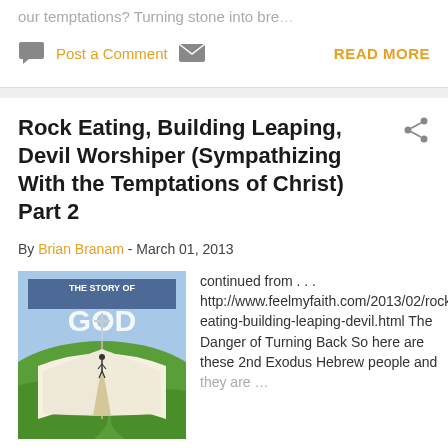our temptations? Turning stone into bre…
Post a Comment  READ MORE
Rock Eating, Building Leaping, Devil Worshiper (Sympathizing With the Temptations of Christ) Part 2
By Brian Branam - March 01, 2013
[Figure (photo): Book with 'The Story of GOD' text and a person walking on a path over an open Bible, with green hills in background]
continued from . . . http://www.feelmyfaith.com/2013/02/rock-eating-building-leaping-devil.html The Danger of Turning Back So here are these 2nd Exodus Hebrew people and they are…
Post a Comment  READ MORE